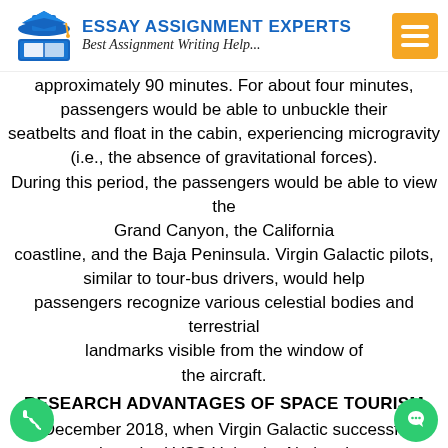[Figure (logo): Essay Assignment Experts logo with blue graduation cap and book, blue text title, italic subtitle 'Best Assignment Writing Help...', and orange hamburger menu button]
approximately 90 minutes. For about four minutes, passengers would be able to unbuckle their seatbelts and float in the cabin, experiencing microgravity (i.e., the absence of gravitational forces). During this period, the passengers would be able to view the Grand Canyon, the California coastline, and the Baja Peninsula. Virgin Galactic pilots, similar to tour-bus drivers, would help passengers recognize various celestial bodies and terrestrial landmarks visible from the window of the aircraft.
RESEARCH ADVANTAGES OF SPACE TOURISM
In December 2018, when Virgin Galactic successfully launched VSS Unity, the National Aeronautics and Space Administration (NASA) aimed to use